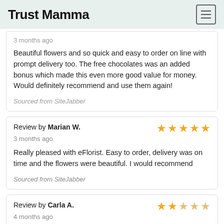Trust Mamma
3 months ago
Beautiful flowers and so quick and easy to order on line with prompt delivery too. The free chocolates was an added bonus which made this even more good value for money. Would definitely recommend and use them again!
Sourced from SiteJabber
Review by Marian W.
3 months ago
Really pleased with eFlorist. Easy to order, delivery was on time and the flowers were beautiful. I would recommend
Sourced from SiteJabber
Review by Carla A.
4 months ago